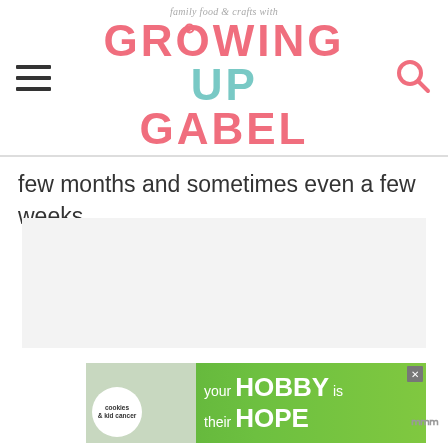family food & crafts with GROWING UP GABEL
few months and sometimes even a few weeks.
[Figure (photo): Light gray placeholder area for an embedded image]
[Figure (other): Advertisement banner: cookies & kid cancer - your HOBBY is their HOPE, green background]